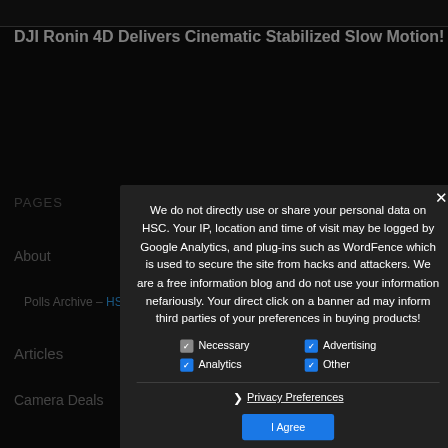DJI Ronin 4D Delivers Cinematic Stabilized Slow Motion!
We do not directly use or share your personal data on HSC. Your IP, location and time of visit may be logged by Google Analytics, and plug-ins such as WordFence which is used to secure the site from hacks and attackers. We are a free information blog and do not use your information nefariously. Your direct click on a banner ad may inform third parties of your preferences in buying products!
Necessary (checked grey), Advertising (checked blue), Analytics (checked blue), Other (checked blue)
❯ Privacy Preferences
I Agree